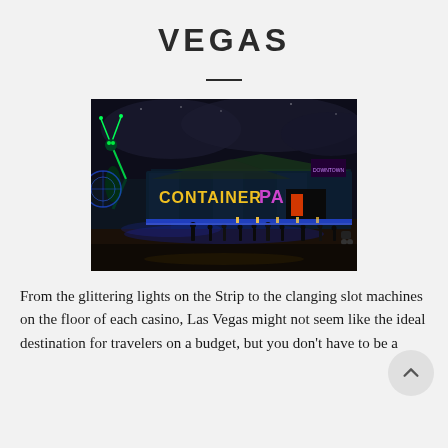VEGAS
[Figure (photo): Nighttime photo of the Container Park in downtown Las Vegas, showing illuminated yellow and purple signage reading 'CONTAINER PARK', a large metal praying mantis sculpture with green neon accents on the left, colorful blue and purple lights, and people walking on the plaza below.]
From the glittering lights on the Strip to the clanging slot machines on the floor of each casino, Las Vegas might not seem like the ideal destination for travelers on a budget, but you don't have to be a